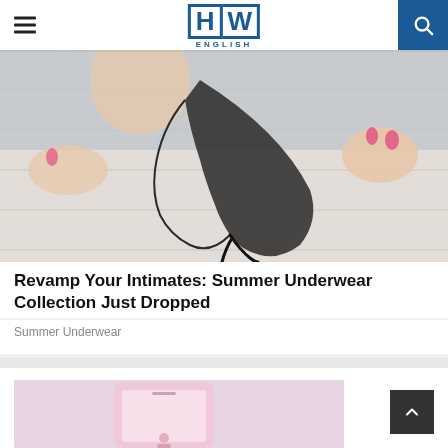HW ENGLISH
[Figure (photo): Person holding up a black lace thong underwear against a white wooden surface background]
Revamp Your Intimates: Summer Underwear Collection Just Dropped
Summer Underwear
[Figure (photo): Pink smartphone on a pink/lavender background, partially visible at bottom of page]